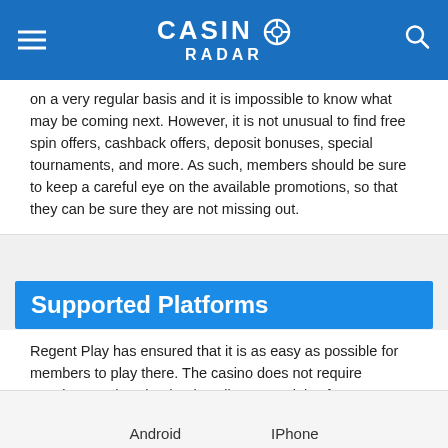CASINO RADAR
on a very regular basis and it is impossible to know what may be coming next. However, it is not unusual to find free spin offers, cashback offers, deposit bonuses, special tournaments, and more. As such, members should be sure to keep a careful eye on the available promotions, so that they can be sure they are not missing out.
Supported Platforms
Regent Play has ensured that it is as easy as possible for members to play there. The casino does not require members to download or install any special software. Rather, members simply need to visit the website, login, and they can begin playing straightaway. As such, it can be enjoyed from any internet-connected computer with a modern web browser.
Android    IPhone